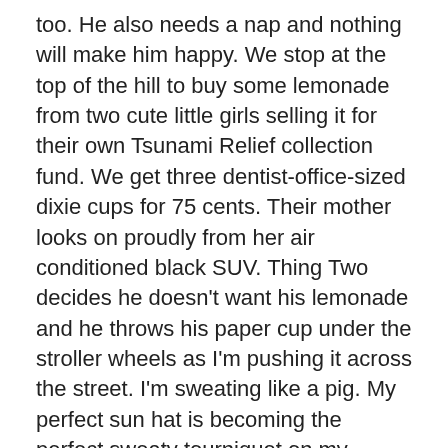too. He also needs a nap and nothing will make him happy. We stop at the top of the hill to buy some lemonade from two cute little girls selling it for their own Tsunami Relief collection fund. We get three dentist-office-sized dixie cups for 75 cents. Their mother looks on proudly from her air conditioned black SUV. Thing Two decides he doesn't want his lemonade and he throws his paper cup under the stroller wheels as I'm pushing it across the street. I'm sweating like a pig. My perfect sun hat is becoming the perfect sweaty tourniquet on my sweaty smelly head. I'm balancing the perfect picnic basket that is now slipping off the top of the stroller because Thing Two is sticking her butt up in the air instead of sitting perfectly in her seat. I try to pick up the discarded paper cup but cars are coming and this circus I'm pushing is quickly going completely out of control. I try not to scold too much but Thing Two's